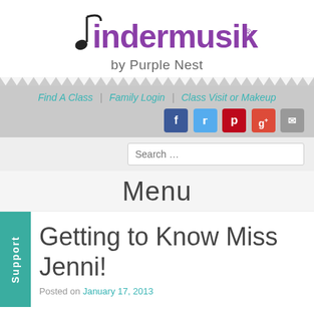[Figure (logo): Kindermusik by Purple Nest logo with musical note and purple text]
Find A Class | Family Login | Class Visit or Makeup
[Figure (screenshot): Social media icons: Facebook, Twitter, Pinterest, Google+, Email]
Search …
Menu
Getting to Know Miss Jenni!
Posted on January 17, 2013